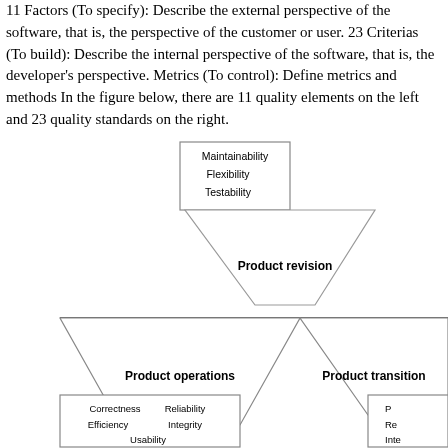11 Factors (To specify): Describe the external perspective of the software, that is, the perspective of the customer or user. 23 Criterias (To build): Describe the internal perspective of the software, that is, the developer's perspective. Metrics (To control): Define metrics and methods In the figure below, there are 11 quality elements on the left and 23 quality standards on the right.
[Figure (infographic): Hierarchical diagram showing software quality model with three main categories: Product revision (top, with Maintainability, Flexibility, Testability), Product operations (bottom left), and Product transition (bottom right, partially visible). Bottom boxes show quality attributes: Correctness, Reliability, Efficiency, Integrity, Usability on the left and P, Re, Inte on the right (partially visible).]